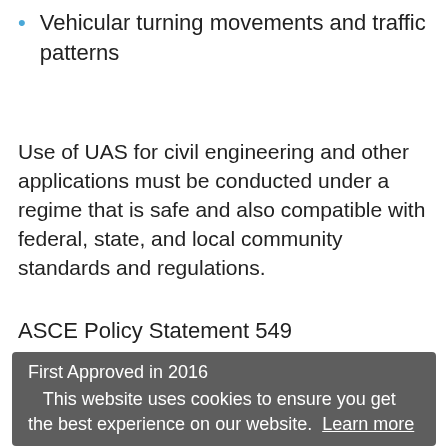Vehicular turning movements and traffic patterns
Use of UAS for civil engineering and other applications must be conducted under a regime that is safe and also compatible with federal, state, and local community standards and regulations.
ASCE Policy Statement 549
First Approved in 2016
This website uses cookies to ensure you get the best experience on our website. Learn more
PUBLIC POLICY, LAWS & REGULATION
Got it!
UNMANNED AERIAL SYSTEMS